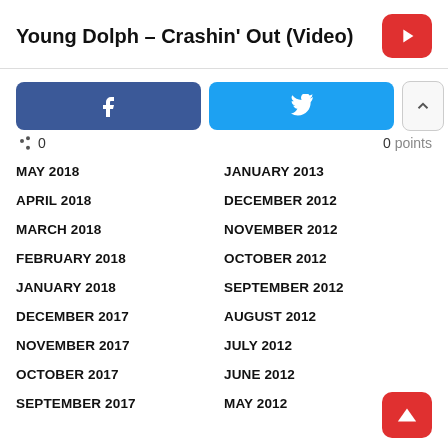Young Dolph – Crashin' Out (Video)
[Figure (other): Social share buttons: Facebook (blue), Twitter (cyan), upvote and downvote arrow buttons. Share count: 0. Points: 0.]
MAY 2018
JANUARY 2013
APRIL 2018
DECEMBER 2012
MARCH 2018
NOVEMBER 2012
FEBRUARY 2018
OCTOBER 2012
JANUARY 2018
SEPTEMBER 2012
DECEMBER 2017
AUGUST 2012
NOVEMBER 2017
JULY 2012
OCTOBER 2017
JUNE 2012
SEPTEMBER 2017
MAY 2012